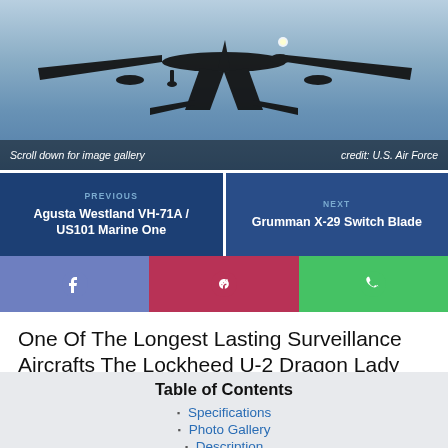[Figure (photo): Silhouette of a Lockheed U-2 Dragon Lady surveillance aircraft viewed from below against a blue sky, with text overlay: 'Scroll down for image gallery' and 'credit: U.S. Air Force']
Scroll down for image gallery
credit: U.S. Air Force
PREVIOUS
Agusta Westland VH-71A / US101 Marine One
NEXT
Grumman X-29 Switch Blade
One Of The Longest Lasting Surveillance Aircrafts The Lockheed U-2 Dragon Lady
Table of Contents
Specifications
Photo Gallery
Description